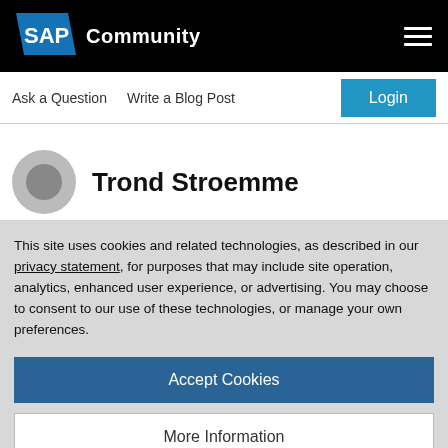SAP Community
Ask a Question   Write a Blog Post
Trond Stroemme
This site uses cookies and related technologies, as described in our privacy statement, for purposes that may include site operation, analytics, enhanced user experience, or advertising. You may choose to consent to our use of these technologies, or manage your own preferences.
Accept Cookies
More Information
Privacy Policy | Powered by: TrustArc
and you have started following tutorials and maybe built your first